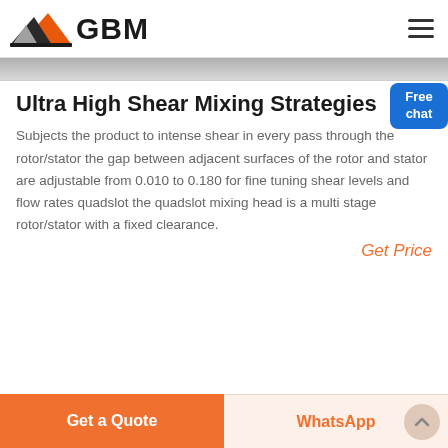[Figure (logo): GBM logo with triangular mountain graphic in orange, dark gray, and light gray colors, followed by bold text GBM]
Ultra High Shear Mixing Strategies
Subjects the product to intense shear in every pass through the rotor/stator the gap between adjacent surfaces of the rotor and stator are adjustable from 0.010 to 0.180 for fine tuning shear levels and flow rates quadslot the quadslot mixing head is a multi stage rotor/stator with a fixed clearance.
Get Price